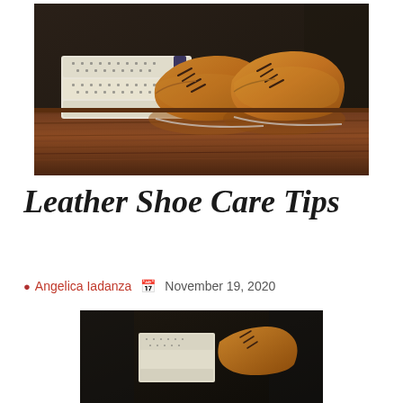[Figure (photo): Tan leather oxford shoes displayed on a wooden shelf next to folded white patterned garments in a retail shop setting.]
Leather Shoe Care Tips
Angelica Iadanza   November 19, 2020
[Figure (photo): Close-up view of leather shoes and accessories displayed in a shoe store, showing tan oxford shoes and folded white patterned items.]